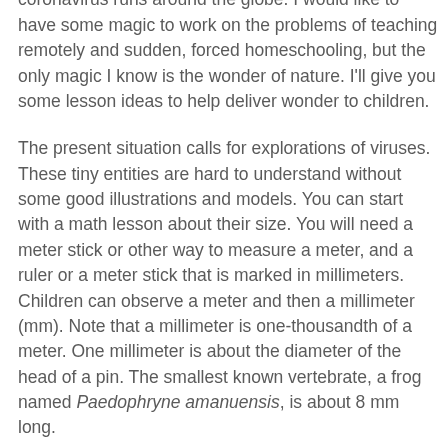We are all making major adjustments as the novel coronavirus runs around the globe. I would like to have some magic to work on the problems of teaching remotely and sudden, forced homeschooling, but the only magic I know is the wonder of nature. I'll give you some lesson ideas to help deliver wonder to children.
The present situation calls for explorations of viruses. These tiny entities are hard to understand without some good illustrations and models. You can start with a math lesson about their size. You will need a meter stick or other way to measure a meter, and a ruler or a meter stick that is marked in millimeters. Children can observe a meter and then a millimeter (mm). Note that a millimeter is one-thousandth of a meter. One millimeter is about the diameter of the head of a pin. The smallest known vertebrate, a frog named Paedophryne amanuensis, is about 8 mm long.